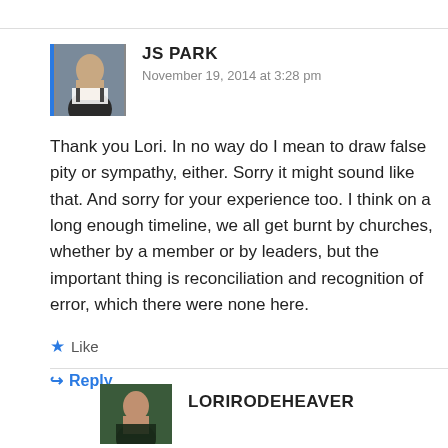[Figure (photo): Avatar photo of JS Park, a man in a suit, with a blue left border]
JS PARK
November 19, 2014 at 3:28 pm
Thank you Lori. In no way do I mean to draw false pity or sympathy, either. Sorry it might sound like that. And sorry for your experience too. I think on a long enough timeline, we all get burnt by churches, whether by a member or by leaders, but the important thing is reconciliation and recognition of error, which there were none here.
Like
Reply
[Figure (photo): Avatar photo of LoriRodeHeaver]
LORIRODEHEAVER